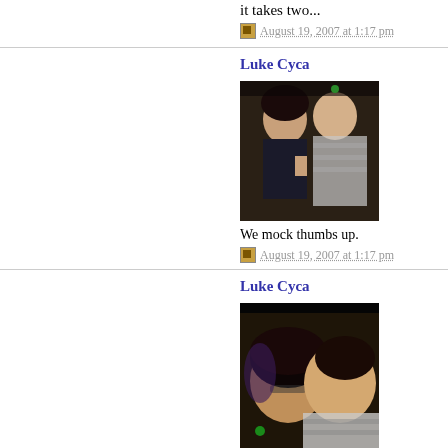it takes two...
August 19, 2007 at 1:17 pm
Luke Cyca
[Figure (photo): Two people posing together indoors, one making a mock thumbs up gesture]
We mock thumbs up.
August 19, 2007 at 1:17 pm
Luke Cyca
[Figure (photo): Two people leaning heads together, smiling, taken at close range]
August 19, 2007 at 1:17 pm
Luke Cyca
[Figure (photo): Photo partially cut off at bottom of page, dark scene]